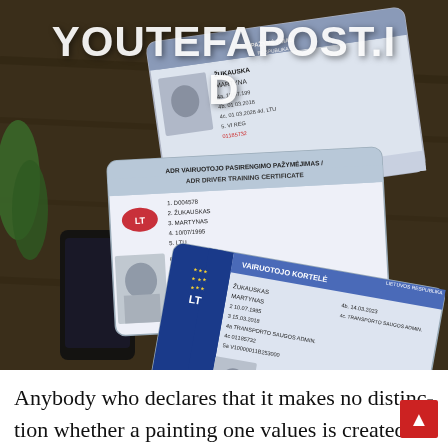[Figure (photo): Photo of multiple Lithuanian ID documents and driver's license cards laid on a dark wooden surface. Cards include an ADR Driver Training Certificate and Vairuotojo Kortele (driver's license) with name ŽUKAUSKAS MARTYNAS, DOB 10.07.1995.]
YOUTEFAPOST.I D
Anybody who declares that it makes no distinction whether a painting one values is created is rather